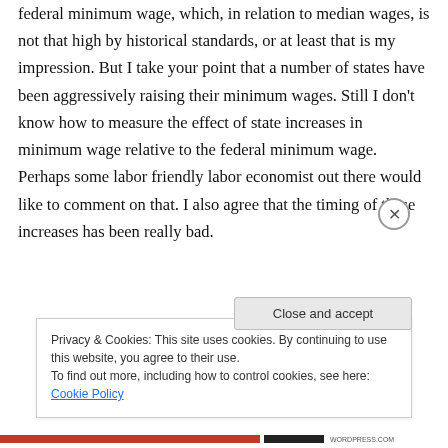federal minimum wage, which, in relation to median wages, is not that high by historical standards, or at least that is my impression. But I take your point that a number of states have been aggressively raising their minimum wages. Still I don't know how to measure the effect of state increases in minimum wage relative to the federal minimum wage. Perhaps some labor friendly labor economist out there would like to comment on that. I also agree that the timing of these increases has been really bad.
Privacy & Cookies: This site uses cookies. By continuing to use this website, you agree to their use. To find out more, including how to control cookies, see here: Cookie Policy